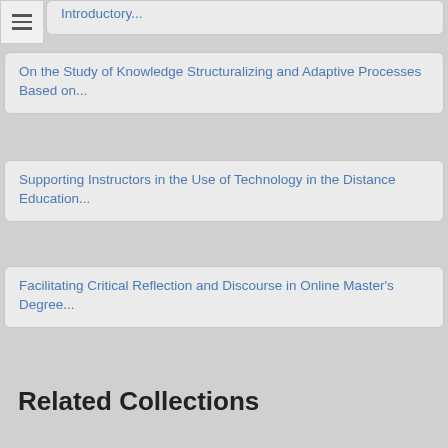Introductory...
On the Study of Knowledge Structuralizing and Adaptive Processes Based on...
Supporting Instructors in the Use of Technology in the Distance Education...
Facilitating Critical Reflection and Discourse in Online Master's Degree...
Related Collections
#1
1-50 LTL
20.12.2017
CEP 822
E - LEARNING